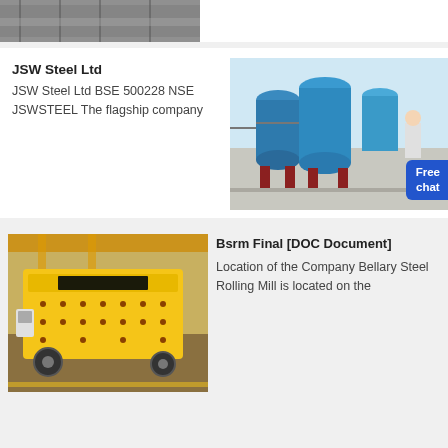[Figure (photo): Industrial machinery photo at top, partially visible, grey/metal tones]
JSW Steel Ltd
JSW Steel Ltd BSE 500228 NSE JSWSTEEL The flagship company
[Figure (photo): Industrial blue tanks/silos in a factory warehouse with a person in white and a Free chat badge]
Bsrm Final [DOC Document]
Location of the Company Bellary Steel Rolling Mill is located on the
[Figure (photo): Yellow industrial impact crusher machine in a factory setting]